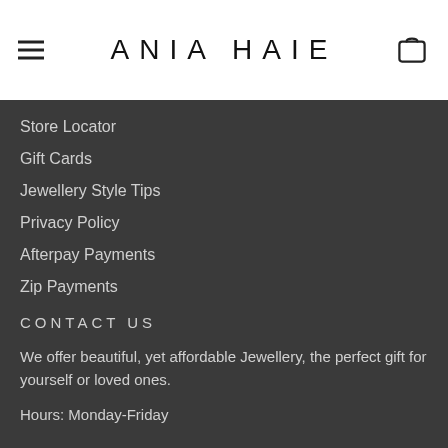ANIA HAIE
Store Locator
Gift Cards
Jewellery Style Tips
Privacy Policy
Afterpay Payments
Zip Payments
CONTACT US
We offer beautiful, yet affordable Jewellery, the perfect gift for yourself or loved ones.
Hours: Monday-Friday